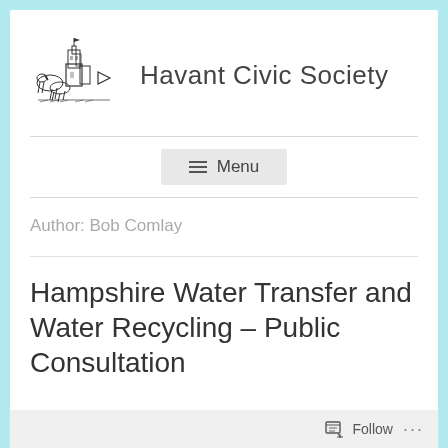[Figure (logo): Havant Civic Society illustrated logo showing buildings/castle and figures]
Havant Civic Society
≡ Menu
Author: Bob Comlay
Hampshire Water Transfer and Water Recycling – Public Consultation
Follow ...